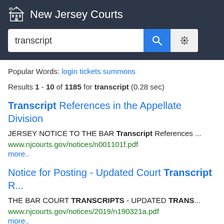New Jersey Courts
transcript [search query]
Popular Words: login tickets summons
Results 1 - 10 of 1185 for transcript (0.28 sec)
Transcript References in the Appellate Division
JERSEY NOTICE TO THE BAR Transcript References ...
www.njcourts.gov/notices/n001101f.pdf
more..
Notice for Posting - Updated Court Transcript R...
THE BAR COURT TRANSCRIPTS - UPDATED TRANS...
www.njcourts.gov/notices/2019/n190321a.pdf
more..